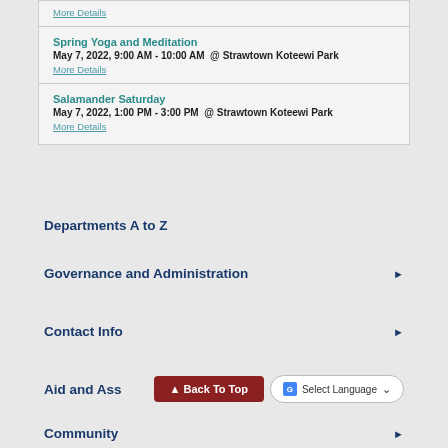More Details
Spring Yoga and Meditation
May 7, 2022, 9:00 AM - 10:00 AM  @ Strawtown Koteewi Park
More Details
Salamander Saturday
May 7, 2022, 1:00 PM - 3:00 PM  @ Strawtown Koteewi Park
More Details
Departments A to Z
Governance and Administration
Contact Info
Aid and Ass...
Community